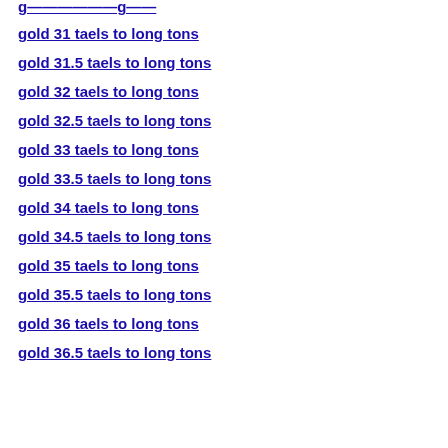g——————g——
gold 31 taels to long tons
gold 31.5 taels to long tons
gold 32 taels to long tons
gold 32.5 taels to long tons
gold 33 taels to long tons
gold 33.5 taels to long tons
gold 34 taels to long tons
gold 34.5 taels to long tons
gold 35 taels to long tons
gold 35.5 taels to long tons
gold 36 taels to long tons
gold 36.5 taels to long tons